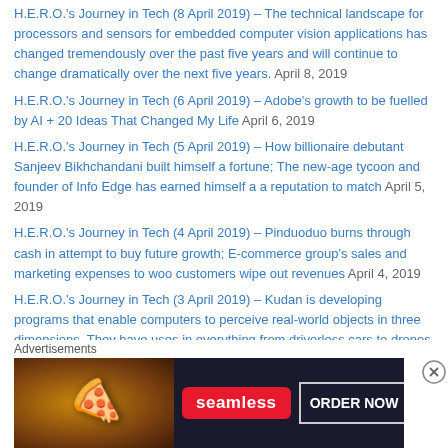H.E.R.O.'s Journey in Tech (8 April 2019) – The technical landscape for processors and sensors for embedded computer vision applications has changed tremendously over the past five years and will continue to change dramatically over the next five years. April 8, 2019
H.E.R.O.'s Journey in Tech (6 April 2019) – Adobe's growth to be fuelled by AI + 20 Ideas That Changed My Life April 6, 2019
H.E.R.O.'s Journey in Tech (5 April 2019) – How billionaire debutant Sanjeev Bikhchandani built himself a fortune; The new-age tycoon and founder of Info Edge has earned himself a a reputation to match April 5, 2019
H.E.R.O.'s Journey in Tech (4 April 2019) – Pinduoduo burns through cash in attempt to buy future growth; E-commerce group's sales and marketing expenses to woo customers wipe out revenues April 4, 2019
H.E.R.O.'s Journey in Tech (3 April 2019) – Kudan is developing programs that enable computers to perceive real-world objects in three dimensions. They have uses in everything from driverless cars to drones and even vacuum cleaners + The Model Thinker: What You
Advertisements
[Figure (photo): Seamless food delivery advertisement banner with pizza image on left, Seamless logo in red badge center, and ORDER NOW button on right against dark background]